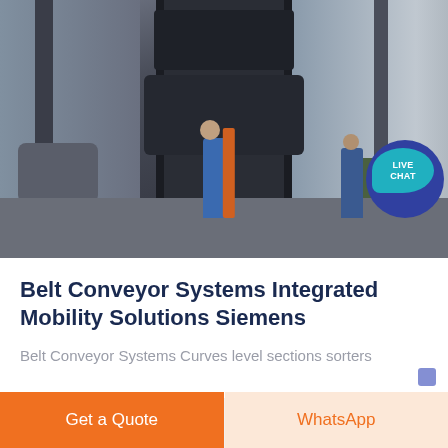[Figure (photo): Industrial factory scene showing workers operating large heavy machinery (press/conveyor system). One worker in blue uniform stands facing a large dark metal machine frame. Another worker stands in the background to the right. Large industrial equipment and motors visible. A 'LIVE CHAT' bubble overlay is visible in the top right of the image.]
Belt Conveyor Systems Integrated Mobility Solutions Siemens
Belt Conveyor Systems Curves level sections sorters
Get a Quote
WhatsApp